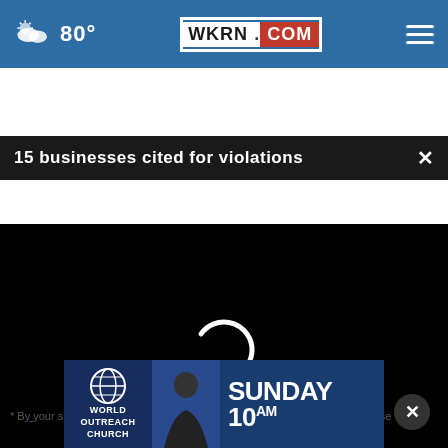80° WKRN.COM
15 businesses cited for violations
[Figure (screenshot): Video player loading screen showing a spinning loading indicator on a black background with playback controls bar showing 00:00 timestamp]
Other / Does not apply
[Figure (photo): World Outreach Church advertisement banner: SUNDAY 10 AM with a speaker photo]
* By                                                                                    your survey answers. If you would like to continue with this survey, please